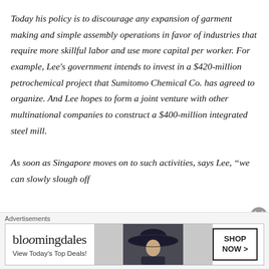Today his policy is to discourage any expansion of garment making and simple assembly operations in favor of industries that require more skillful labor and use more capital per worker. For example, Lee's government intends to invest in a $420-million petrochemical project that Sumitomo Chemical Co. has agreed to organize. And Lee hopes to form a joint venture with other multinational companies to construct a $400-million integrated steel mill.

As soon as Singapore moves on to such activities, says Lee, “we can slowly slough off
Advertisements
[Figure (other): Bloomingdale's advertisement banner with logo text 'bloomingdales', tagline 'View Today's Top Deals!', image of a woman in a wide-brim hat, and a 'SHOP NOW >' button.]